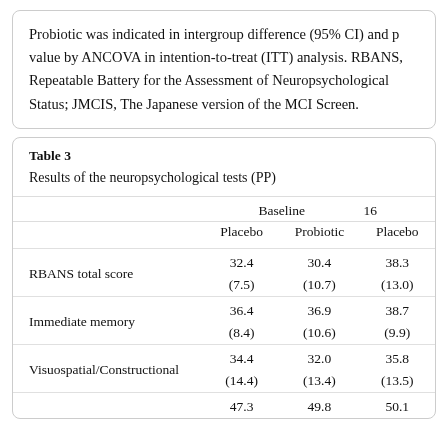Probiotic was indicated in intergroup difference (95% CI) and p value by ANCOVA in intention-to-treat (ITT) analysis. RBANS, Repeatable Battery for the Assessment of Neuropsychological Status; JMCIS, The Japanese version of the MCI Screen.
Table 3
Results of the neuropsychological tests (PP)
|  | Baseline Placebo | Baseline Probiotic | 16 Placebo |
| --- | --- | --- | --- |
| RBANS total score | 32.4 | 30.4 | 38.3 |
|  | (7.5) | (10.7) | (13.0) |
| Immediate memory | 36.4 | 36.9 | 38.7 |
|  | (8.4) | (10.6) | (9.9) |
| Visuospatial/Constructional | 34.4 | 32.0 | 35.8 |
|  | (14.4) | (13.4) | (13.5) |
|  | 47.3 | 49.8 | 50.1 |